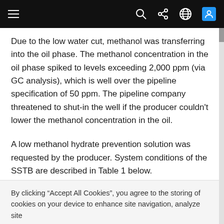Navigation bar with hamburger menu, search, share, globe, and user icons
Due to the low water cut, methanol was transferring into the oil phase. The methanol concentration in the oil phase spiked to levels exceeding 2,000 ppm (via GC analysis), which is well over the pipeline specification of 50 ppm. The pipeline company threatened to shut-in the well if the producer couldn't lower the methanol concentration in the oil.
A low methanol hydrate prevention solution was requested by the producer. System conditions of the SSTB are described in Table 1 below.
Table 1: System Conditions
By clicking “Accept All Cookies”, you agree to the storing of cookies on your device to enhance site navigation, analyze site